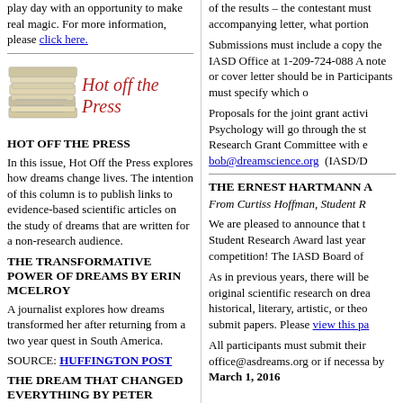play day with an opportunity to make real magic. For more information, please click here.
[Figure (illustration): Stack of newspapers with 'Hot off the Press' text in red cursive]
HOT OFF THE PRESS
In this issue, Hot Off the Press explores how dreams change lives. The intention of this column is to publish links to evidence-based scientific articles on the study of dreams that are written for a non-research audience.
THE TRANSFORMATIVE POWER OF DREAMS BY ERIN MCELROY
A journalist explores how dreams transformed her after returning from a two year quest in South America.
SOURCE: HUFFINGTON POST
THE DREAM THAT CHANGED EVERYTHING BY PETER NAVRATIL
of the results – the contestant must accompanying letter, what portion
Submissions must include a copy the IASD Office at 1-209-724-088 A note or cover letter should be in Participants must specify which o
Proposals for the joint grant activi Psychology will go through the st Research Grant Committee with e bob@dreamscience.org (IASD/D
THE ERNEST HARTMANN A
From Curtiss Hoffman, Student R
We are pleased to announce that t Student Research Award last year competition! The IASD Board of
As in previous years, there will be original scientific research on drea historical, literary, artistic, or theo submit papers. Please view this pa
All participants must submit their office@asdreams.org or if necessa by March 1, 2016